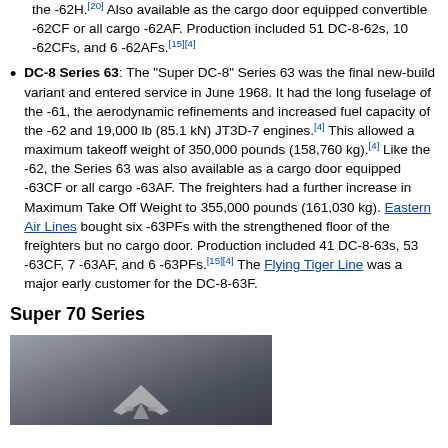the -62H.[20] Also available as the cargo door equipped convertible -62CF or all cargo -62AF. Production included 51 DC-8-62s, 10 -62CFs, and 6 -62AFs.[15][4]
DC-8 Series 63: The "Super DC-8" Series 63 was the final new-build variant and entered service in June 1968. It had the long fuselage of the -61, the aerodynamic refinements and increased fuel capacity of the -62 and 19,000 lb (85.1 kN) JT3D-7 engines.[4] This allowed a maximum takeoff weight of 350,000 pounds (158,760 kg).[4] Like the -62, the Series 63 was also available as a cargo door equipped -63CF or all cargo -63AF. The freighters had a further increase in Maximum Take Off Weight to 355,000 pounds (161,030 kg). Eastern Air Lines bought six -63PFs with the strengthened floor of the freighters but no cargo door. Production included 41 DC-8-63s, 53 -63CF, 7 -63AF, and 6 -63PFs.[15][4] The Flying Tiger Line was a major early customer for the DC-8-63F.
Super 70 Series
[Figure (photo): Photograph of a DC-8 aircraft viewed from below/side against a grey sky, showing the underside and engines.]